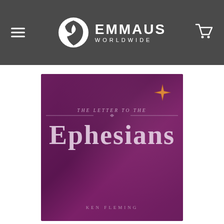Emmaus Worldwide — navigation header with hamburger menu, logo, and cart icon
[Figure (photo): Book cover for 'The Letter to the Ephesians' by Ken Fleming. Deep purple/magenta background with a four-pointed star gem in the upper right corner. Title text reads 'THE LETTER TO THE' in small spaced serif letters above a decorative line, then 'EPHESIANS' in large bold serif letters. Author name 'KEN FLEMING' appears at the bottom in spaced small caps.]